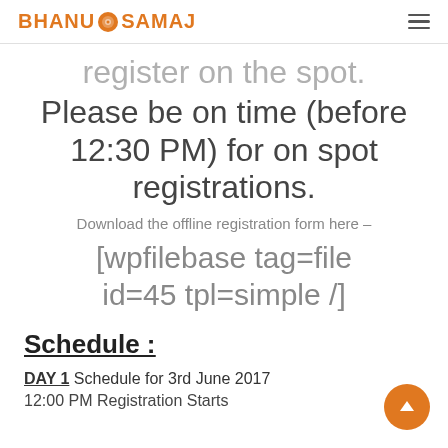BHANU SAMAJ
register on the spot. Please be on time (before 12:30 PM) for on spot registrations.
Download the offline registration form here –
[wpfilebase tag=file id=45 tpl=simple /]
Schedule :
DAY 1 Schedule for 3rd June 2017
12:00 PM Registration Starts